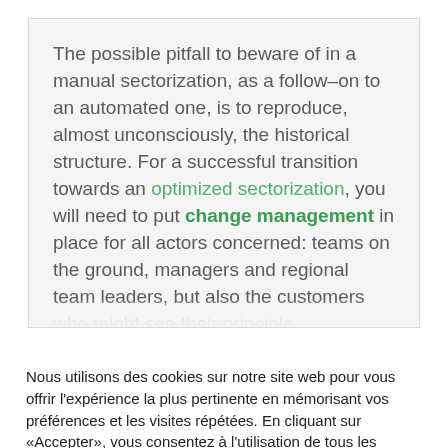The possible pitfall to beware of in a manual sectorization, as a follow–on to an automated one, is to reproduce, almost unconsciously, the historical structure. For a successful transition towards an optimized sectorization, you will need to put change management in place for all actors concerned: teams on the ground, managers and regional team leaders, but also the customers who might see their principle [cut off]
Nous utilisons des cookies sur notre site web pour vous offrir l'expérience la plus pertinente en mémorisant vos préférences et les visites répétées. En cliquant sur «Accepter», vous consentez à l'utilisation de tous les cookies.
Paramètres des cookies
Accepter